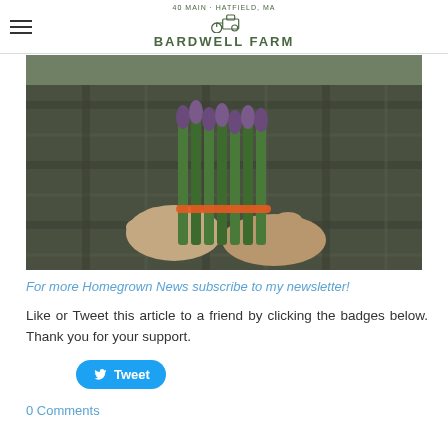BARDWELL FARM
[Figure (photo): Hands holding a bunch of asparagus, person wearing a plaid shirt, outdoor green background]
For more Homegrown News subscribe to my newsletter!
Like or Tweet this article to a friend by clicking the badges below. Thank you for your support.
Tweet
0 Comments